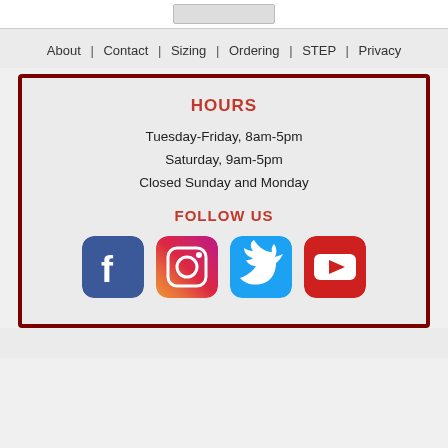[Figure (logo): Logo placeholder at top center]
About | Contact | Sizing | Ordering | STEP | Privacy
HOURS
Tuesday-Friday, 8am-5pm
Saturday, 9am-5pm
Closed Sunday and Monday
FOLLOW US
[Figure (infographic): Social media icons: Facebook, Instagram, Twitter, YouTube]